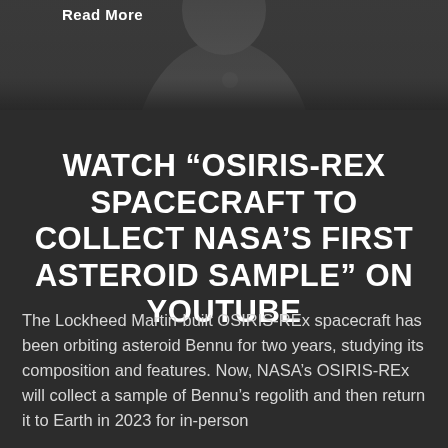[Figure (photo): Black and white photograph of a person (partial view), with 'Read More' text overlay at top left]
WATCH “OSIRIS-REX SPACECRAFT TO COLLECT NASA’S FIRST ASTEROID SAMPLE” ON YOUTUBE
The Lockheed Martin-built OSIRIS-REx spacecraft has been orbiting asteroid Bennu for two years, studying its composition and features. Now, NASA’s OSIRIS-REx will collect a sample of Bennu’s regolith and then return it to Earth in 2023 for in-person